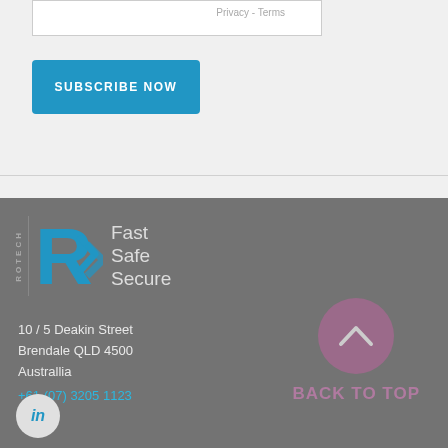Privacy - Terms
SUBSCRIBE NOW
[Figure (logo): Rotech logo with blue R symbol and text Fast Safe Secure]
10 / 5 Deakin Street
Brendale QLD 4500
Australlia
+61 (07) 3205 1123
[Figure (other): Back to top button - purple circle with chevron up arrow and BACK TO TOP text]
[Figure (logo): LinkedIn icon - white circle with blue in text]